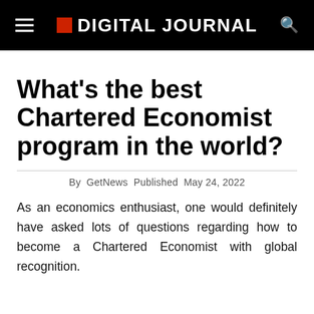DIGITAL JOURNAL
What’s the best Chartered Economist program in the world?
By GetNews Published May 24, 2022
As an economics enthusiast, one would definitely have asked lots of questions regarding how to become a Chartered Economist with global recognition.